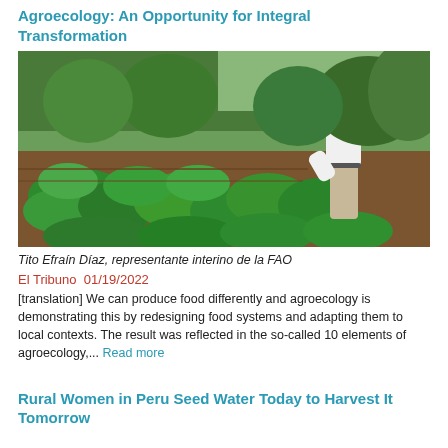Agroecology: An Opportunity for Integral Transformation
[Figure (photo): A person bending over tending to rows of green leafy vegetables in a garden with trees in the background]
Tito Efraín Díaz, representante interino de la FAO
El Tribuno  01/19/2022
[translation] We can produce food differently and agroecology is demonstrating this by redesigning food systems and adapting them to local contexts. The result was reflected in the so-called 10 elements of agroecology,... Read more
Rural Women in Peru Seed Water Today to Harvest It Tomorrow